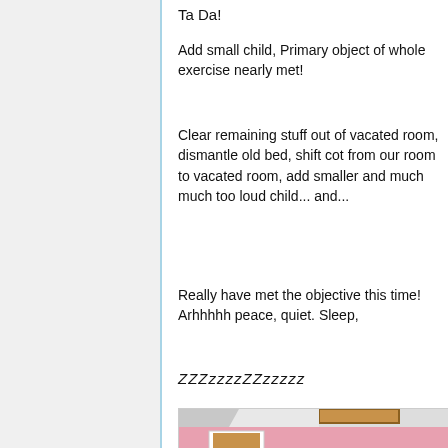Ta Da!
Add small child, Primary object of whole exercise nearly met!
Clear remaining stuff out of vacated room, dismantle old bed, shift cot from our room to vacated room, add smaller and much much too loud child... and...
Really have met the objective this time! Arhhhhh peace, quiet. Sleep,
ZZZzzzzZZzzzzz
[Figure (photo): Interior photo of a child's bedroom with pink wallpaper featuring cartoon characters, a wooden door with white frame, and a skylight visible in the sloped ceiling.]